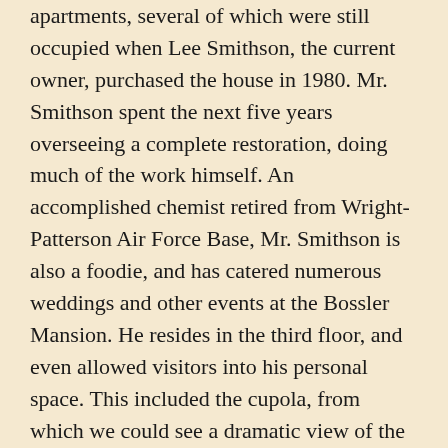apartments, several of which were still occupied when Lee Smithson, the current owner, purchased the house in 1980. Mr. Smithson spent the next five years overseeing a complete restoration, doing much of the work himself. An accomplished chemist retired from Wright-Patterson Air Force Base, Mr. Smithson is also a foodie, and has catered numerous weddings and other events at the Bossler Mansion. He resides in the third floor, and even allowed visitors into his personal space. This included the cupola, from which we could see a dramatic view of the city – probably one of the best around!
If you live in the area and are interested in history, the St. Anne's Hill Christmas tour is a must-see. I'd like to go again, preferably during daylight hours so I can get a better view of the homes' exteriors and maybe some decent photos. The $20 tour admission was money well spent, and will go toward the Historic Society's continued work in preserving their neighborhood